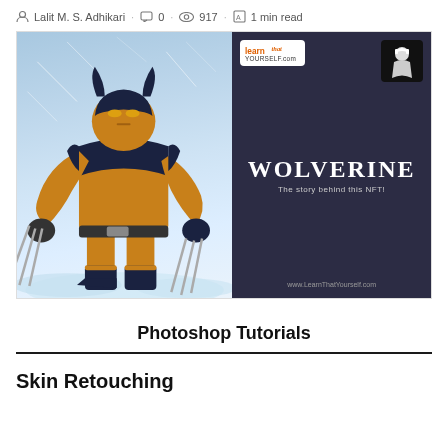Lalit M. S. Adhikari · 0 · 917 · 1 min read
[Figure (illustration): Split promotional image: left side shows a comic-book illustration of Wolverine in a fighting stance with claws extended, yellow and dark blue costume, blue/white snowy background. Right side is a dark purple card with LearnThatYourself.com logo, a masked character icon, bold text 'WOLVERINE' and subtitle 'The story behind this NFT!' and URL www.LearnThatYourself.com]
Photoshop Tutorials
Skin Retouching